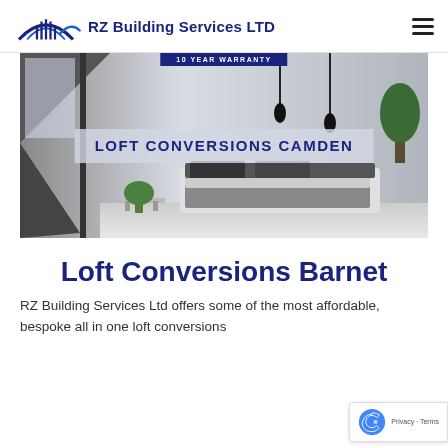RZ Building Services LTD
[Figure (photo): Hero banner image of a modern loft bedroom conversion with dark accents, white walls, pendant lights, and a banner reading '10 YEAR WARRANTY'. Overlaid text reads 'LOFT CONVERSIONS CAMDEN'.]
Loft Conversions Barnet
RZ Building Services Ltd offers some of the most affordable, bespoke all in one loft conversions